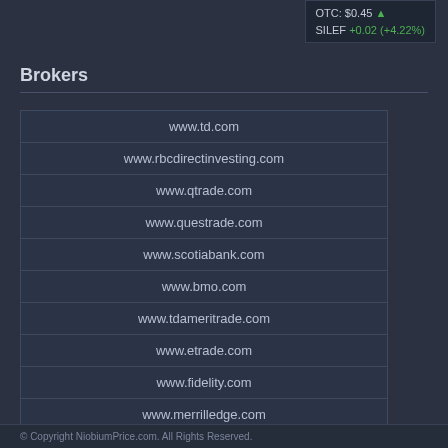OTC: $0.45 ▲  SILEF +0.02 (+4.22%)
Brokers
| www.td.com |
| www.rbcdirectinvesting.com |
| www.qtrade.com |
| www.questrade.com |
| www.scotiabank.com |
| www.bmo.com |
| www.tdameritrade.com |
| www.etrade.com |
| www.fidelity.com |
| www.merrilledge.com |
© Copyright NiobiumPrice.com. All Rights Reserved.